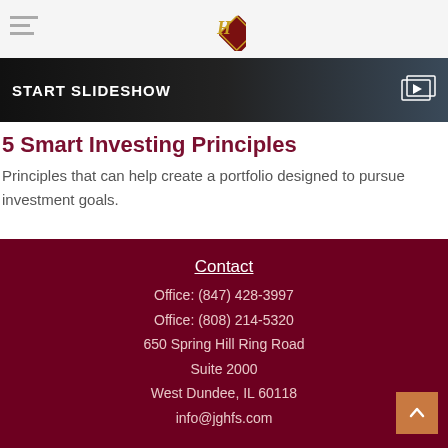H (logo)
[Figure (screenshot): Dark slideshow banner with text START SLIDESHOW and a slideshow/play icon on the right]
5 Smart Investing Principles
Principles that can help create a portfolio designed to pursue investment goals.
Contact
Office: (847) 428-3997
Office: (808) 214-5320
650 Spring Hill Ring Road
Suite 2000
West Dundee, IL 60118
info@jghfs.com